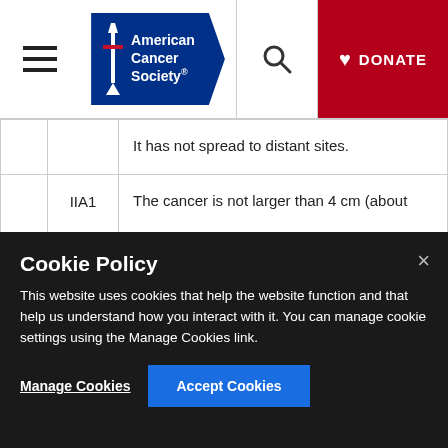American Cancer Society — Navigation header with menu, logo, search, and donate button
|  | Stage | Description |
| --- | --- | --- |
|  |  | It has not spread to distant sites. |
|  | IIA1 | The cancer is not larger than 4 cm (about
It not has not spread to nearby lymph no
It has not spread to distant sites. |
Cookie Policy
This website uses cookies that help the website function and that help us understand how you interact with it. You can manage cookie settings using the Manage Cookies link.
Manage Cookies   Accept Cookies